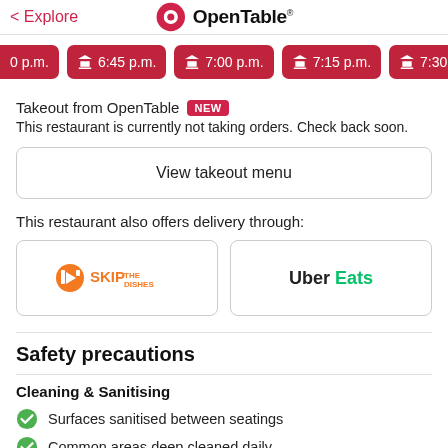< Explore  OpenTable
0 p.m.  6:45 p.m.  7:00 p.m.  7:15 p.m.  7:30
Takeout from OpenTable NEW
This restaurant is currently not taking orders. Check back soon.
View takeout menu
This restaurant also offers delivery through:
[Figure (logo): SkipTheDishes logo in orange]
[Figure (logo): Uber Eats logo with Uber in black and Eats in green]
Safety precautions
Cleaning & Sanitising
Surfaces sanitised between seatings
Common areas deep cleaned daily
Clean menu provided to every guest